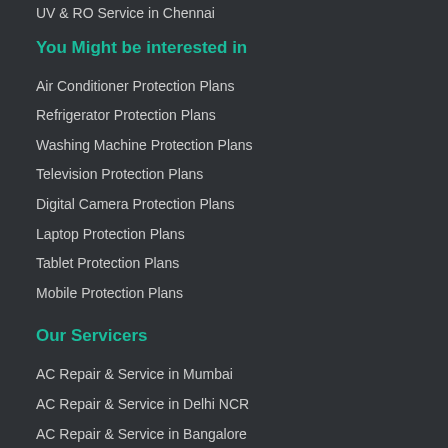UV & RO Service in Chennai
You Might be interested in
Air Conditioner Protection Plans
Refrigerator Protection Plans
Washing Machine Protection Plans
Television Protection Plans
Digital Camera Protection Plans
Laptop Protection Plans
Tablet Protection Plans
Mobile Protection Plans
Our Servicers
AC Repair & Service in Mumbai
AC Repair & Service in Delhi NCR
AC Repair & Service in Bangalore
AC Repair & Service in Pune